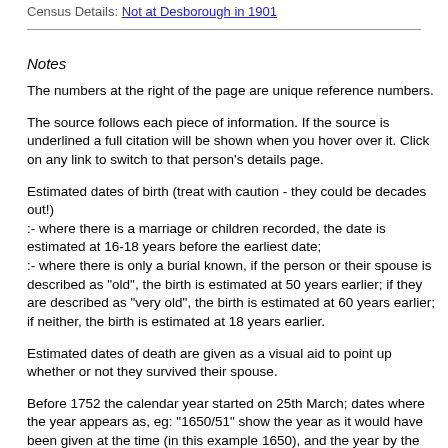Census Details: Not at Desborough in 1901
Notes
The numbers at the right of the page are unique reference numbers.
The source follows each piece of information. If the source is underlined a full citation will be shown when you hover over it. Click on any link to switch to that person's details page.
Estimated dates of birth (treat with caution - they could be decades out!)
:- where there is a marriage or children recorded, the date is estimated at 16-18 years before the earliest date;
:- where there is only a burial known, if the person or their spouse is described as "old", the birth is estimated at 50 years earlier; if they are described as "very old", the birth is estimated at 60 years earlier; if neither, the birth is estimated at 18 years earlier.
Estimated dates of death are given as a visual aid to point up whether or not they survived their spouse.
Before 1752 the calendar year started on 25th March; dates where the year appears as, eg: "1650/51" show the year as it would have been given at the time (in this example 1650), and the year by the modern calendar (1651). Jan-Mar dates before 1752 which don't show this "double dating" are from secondary sources which haven't